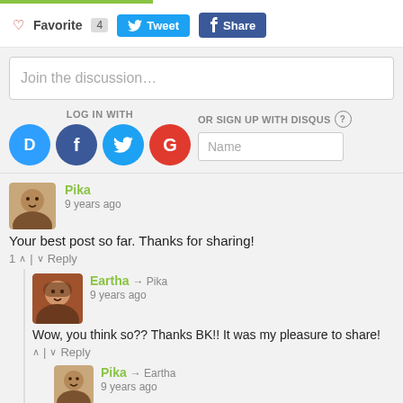Favorite 4  Tweet  Share
Join the discussion…
LOG IN WITH
OR SIGN UP WITH DISQUS ?
Name
Pika
9 years ago
Your best post so far. Thanks for sharing!
1  ∧  |  ∨  Reply
Eartha → Pika
9 years ago
Wow, you think so?? Thanks BK!! It was my pleasure to share!
∧  |  ∨  Reply
Pika → Eartha
9 years ago